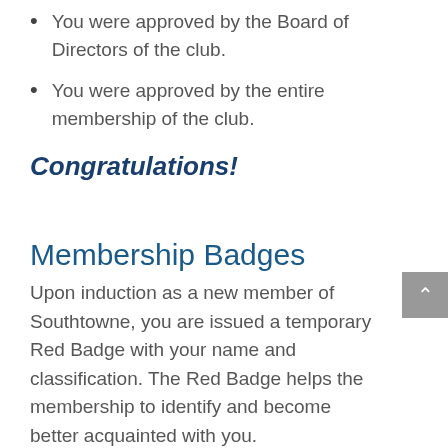You were approved by the Board of Directors of the club.
You were approved by the entire membership of the club.
Congratulations!
Membership Badges
Upon induction as a new member of Southtowne, you are issued a temporary Red Badge with your name and classification. The Red Badge helps the membership to identify and become better acquainted with you.
As you become involved in the club's activities